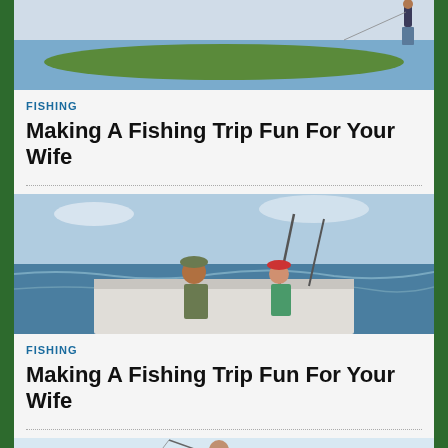[Figure (photo): Person fishing by a river bank with green vegetation]
FISHING
Making A Fishing Trip Fun For Your Wife
[Figure (photo): A man and a woman on a fishing boat at sea, with fishing rods visible]
FISHING
Making A Fishing Trip Fun For Your Wife
[Figure (photo): Two people fishing on a beach, one adult and one child]